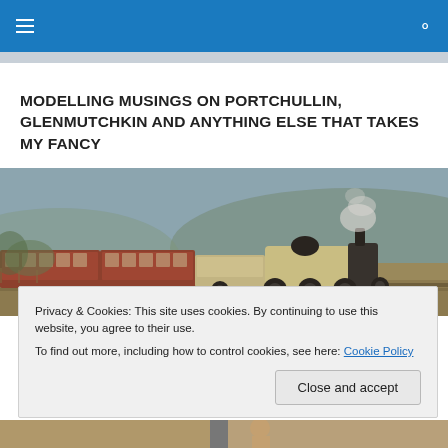≡   🔍
MODELLING MUSINGS ON PORTCHULLIN, GLENMUTCHKIN AND ANYTHING ELSE THAT TAKES MY FANCY
[Figure (photo): Vintage steam locomotive pulling passenger coaches through a rural landscape, sepia-toned photograph]
Privacy & Cookies: This site uses cookies. By continuing to use this website, you agree to their use.
To find out more, including how to control cookies, see here: Cookie Policy
Close and accept
[Figure (photo): Partial view of a bottom image strip showing a person]